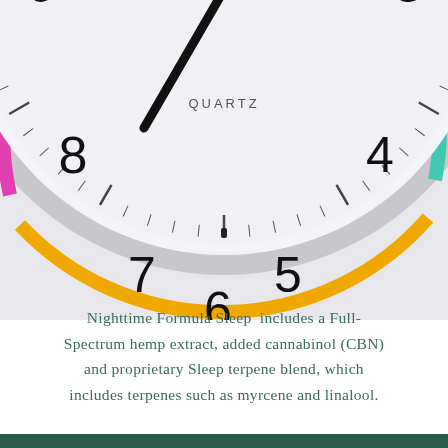[Figure (photo): A close-up photograph of a round analog clock with a white/light gray face. The clock has colorful arcs on its bezel: magenta/pink on the upper-left, teal/cyan on the upper-right, and orange/yellow on the bottom. The clock face shows numbers 2 through 9 visible (cropped at top), with tick marks. The hour hand points toward 8 and the minute hand toward 12. The word QUARTZ appears below center on the clock face.]
Nighttime Formula Sleep includes a Full-Spectrum hemp extract, added cannabinol (CBN) and proprietary Sleep terpene blend, which includes terpenes such as myrcene and linalool.